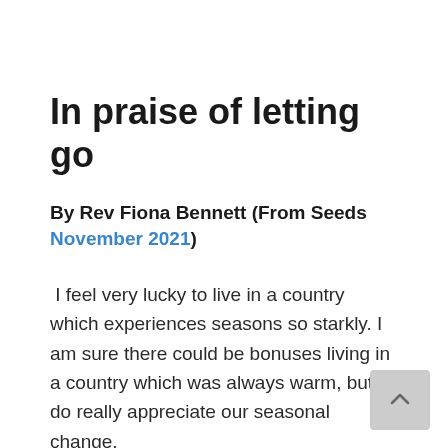In praise of letting go
By Rev Fiona Bennett (From Seeds November 2021)
I feel very lucky to live in a country which experiences seasons so starkly. I am sure there could be bonuses living in a country which was always warm, but I do really appreciate our seasonal change.
The leaves turn and drop. The trees send their energy to the roots warmly buried under the soil. Geese fly south and other